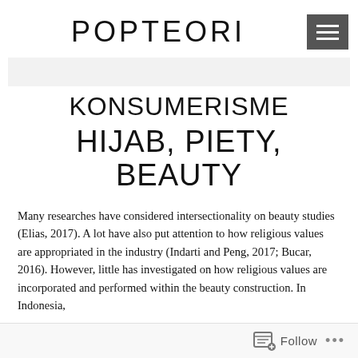POPTEORI
KONSUMERISME
HIJAB, PIETY, BEAUTY
Many researches have considered intersectionality on beauty studies (Elias, 2017). A lot have also put attention to how religious values are appropriated in the industry (Indarti and Peng, 2017; Bucar, 2016). However, little has investigated on how religious values are incorporated and performed within the beauty construction. In Indonesia,
Follow ...